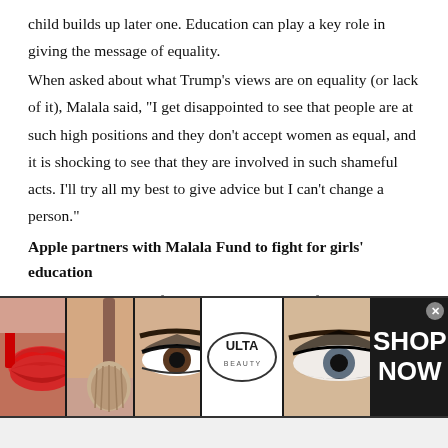child builds up later one. Education can play a key role in giving the message of equality.
When asked about what Trump's views are on equality (or lack of it), Malala said, “I get disappointed to see that people are at such high positions and they don’t accept women as equal, and it is shocking to see that they are involved in such shameful acts. I’ll try all my best to give advice but I can’t change a person.”
Apple partners with Malala Fund to fight for girls’ education
Discussing the role of governments in terms of education, she said, “My focus has been to encourage governments to
[Figure (photo): Ulta Beauty advertisement banner showing makeup cosmetics images (lips with red lipstick, makeup brush, eye with dark makeup, Ulta Beauty logo, eye with smoky makeup) with SHOP NOW text on dark background.]